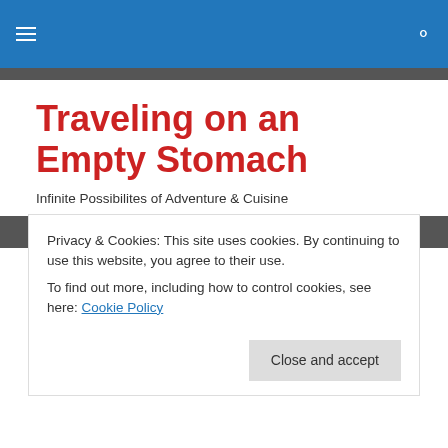Traveling on an Empty Stomach — site navigation header with menu and search icons
Traveling on an Empty Stomach
Infinite Possibilites of Adventure & Cuisine
MONTHLY ARCHIVES: FEBRUARY 2015
A Winter Escape: Sri Lanka
Privacy & Cookies: This site uses cookies. By continuing to use this website, you agree to their use.
To find out more, including how to control cookies, see here: Cookie Policy
Close and accept